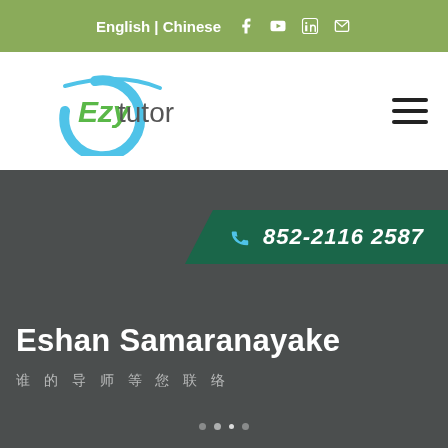English | Chinese
[Figure (logo): Ezytutor logo with cyan C-shape arc and green 'Ezy' text and dark 'tutor' text]
Eshan Samaranayake
852-2116 2587
谁 的 导 师 等 您 联 络